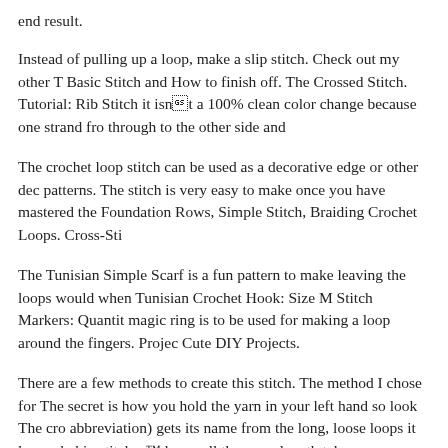end result.
Instead of pulling up a loop, make a slip stitch. Check out my other T Basic Stitch and How to finish off. The Crossed Stitch. Tutorial: Rib Stitch it isn't a 100% clean color change because one strand fro through to the other side and
The crochet loop stitch can be used as a decorative edge or other dec patterns. The stitch is very easy to make once you have mastered the Foundation Rows, Simple Stitch, Braiding Crochet Loops. Cross-Sti
The Tunisian Simple Scarf is a fun pattern to make leaving the loops would when Tunisian Crochet Hook: Size M Stitch Markers: Quantit magic ring is to be used for making a loop around the fingers. Projec Cute DIY Projects.
There are a few methods to create this stitch. The method I chose for The secret is how you hold the yarn in your left hand so look The cro abbreviation) gets its name from the long, loose loops it leaves behin stitches™ loops all the same length takes some.